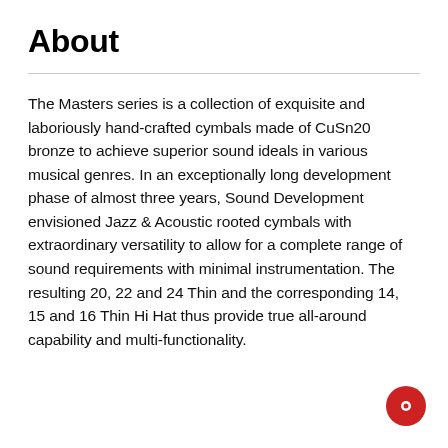About
The Masters series is a collection of exquisite and laboriously hand-crafted cymbals made of CuSn20 bronze to achieve superior sound ideals in various musical genres. In an exceptionally long development phase of almost three years, Sound Development envisioned Jazz & Acoustic rooted cymbals with extraordinary versatility to allow for a complete range of sound requirements with minimal instrumentation. The resulting 20, 22 and 24 Thin and the corresponding 14, 15 and 16 Thin Hi Hat thus provide true all-around capability and multi-functionality.